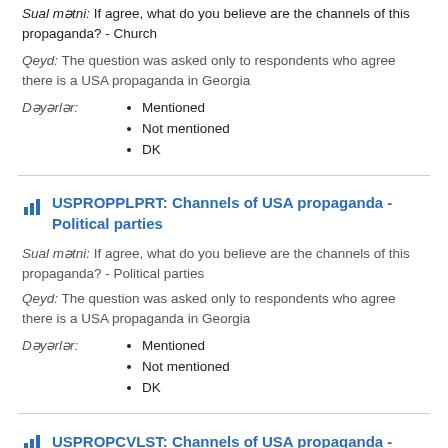Sual mətni: If agree, what do you believe are the channels of this propaganda? - Church
Qeyd: The question was asked only to respondents who agree there is a USA propaganda in Georgia
Dəyərlər:
Mentioned
Not mentioned
DK
USPROPPLPRT: Channels of USA propaganda - Political parties
Sual mətni: If agree, what do you believe are the channels of this propaganda? - Political parties
Qeyd: The question was asked only to respondents who agree there is a USA propaganda in Georgia
Dəyərlər:
Mentioned
Not mentioned
DK
USPROPCVLST: Channels of USA propaganda -